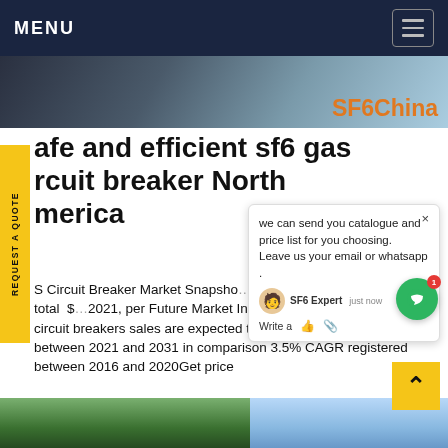MENU
[Figure (screenshot): Hero image band with SF6China brand logo in orange text on right side, dark background with industrial imagery]
safe and efficient sf6 gas circuit breaker North America
S Circuit Breaker Market Snapshot rcuit aker market worth will total $ 2021, per Future Market Insights (FMI) analysis.Overall circuit breakers sales are expected to grow at a GR of 3.9% between 2021 and 2031 in comparison 3.5% CAGR registered between 2016 and 2020Get price
[Figure (screenshot): Chat popup overlay showing 'we can send you catalogue and price list for you choosing. Leave us your email or whatsapp.' message with SF6 Expert agent just now, Write a prompt with thumbs up and attach icons, and green circular chat button with red badge showing 1]
[Figure (photo): Bottom banner image showing green trees/foliage on left and blue sky on right]